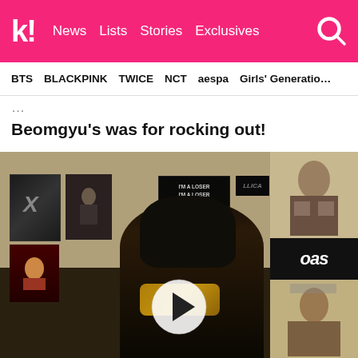k! News Lists Stories Exclusives
BTS BLACKPINK TWICE NCT aespa Girls' Generation
Beomgyu's was for rocking out!
[Figure (photo): Video screenshot of a person (Beomgyu) in a room with band posters on the wall including Metallica and Oasis, with a play button overlay in the center]